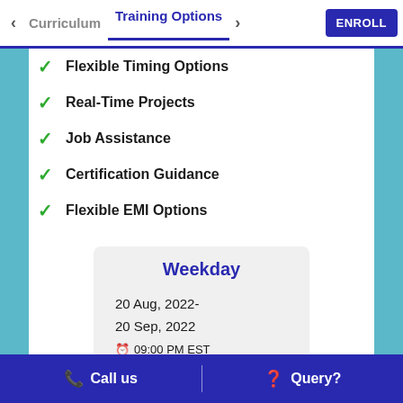< Curriculum   Training Options   > ENROLL
Flexible Timing Options
Real-Time Projects
Job Assistance
Certification Guidance
Flexible EMI Options
Weekday
20 Aug, 2022-
20 Sep, 2022
09:00 PM EST
Call us   |   Query?